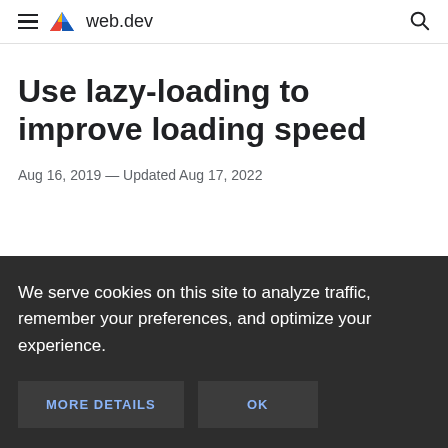web.dev
Use lazy-loading to improve loading speed
Aug 16, 2019 — Updated Aug 17, 2022
We serve cookies on this site to analyze traffic, remember your preferences, and optimize your experience.
MORE DETAILS  OK